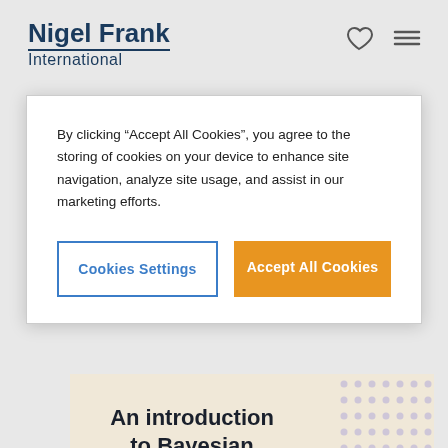Nigel Frank International
By clicking “Accept All Cookies”, you agree to the storing of cookies on your device to enhance site navigation, analyze site usage, and assist in our marketing efforts.
Cookies Settings | Accept All Cookies
By Jamie Maguire
Share:
[Figure (illustration): An introduction to Bayesian Theorem article banner with decorative dot grid and geometric shapes on a cream background]